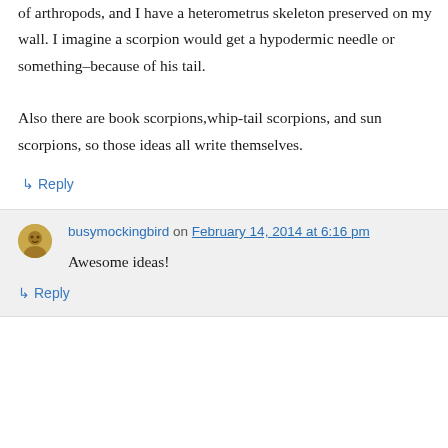of arthropods, and I have a heterometrus skeleton preserved on my wall. I imagine a scorpion would get a hypodermic needle or something–because of his tail.
Also there are book scorpions,whip-tail scorpions, and sun scorpions, so those ideas all write themselves.
↳ Reply
busymockingbird on February 14, 2014 at 6:16 pm
Awesome ideas!
↳ Reply